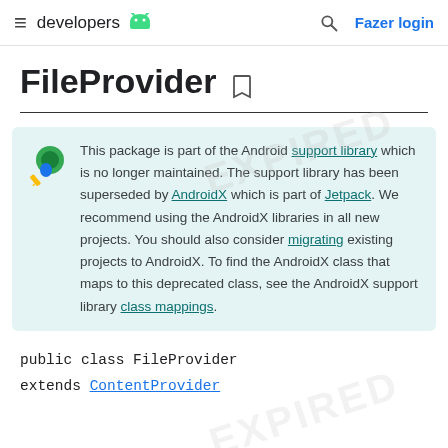developers  Fazer login
FileProvider
This package is part of the Android support library which is no longer maintained. The support library has been superseded by AndroidX which is part of Jetpack. We recommend using the AndroidX libraries in all new projects. You should also consider migrating existing projects to AndroidX. To find the AndroidX class that maps to this deprecated class, see the AndroidX support library class mappings.
public class FileProvider
extends ContentProvider